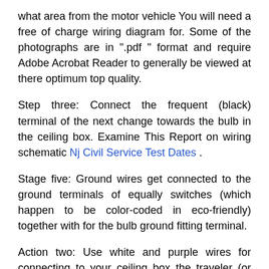what area from the motor vehicle You will need a free of charge wiring diagram for. Some of the photographs are in ".pdf " format and require Adobe Acrobat Reader to generally be viewed at there optimum top quality.
Step three: Connect the frequent (black) terminal of the next change towards the bulb in the ceiling box. Examine This Report on wiring schematic Nj Civil Service Test Dates .
Stage five: Ground wires get connected to the ground terminals of equally switches (which happen to be color-coded in eco-friendly) together with for the bulb ground fitting terminal.
Action two: Use white and purple wires for connecting to your ceiling box the traveler (or brass colour) terminals from the switch. Both terminal will work. wiring schematic No Further a Mystery